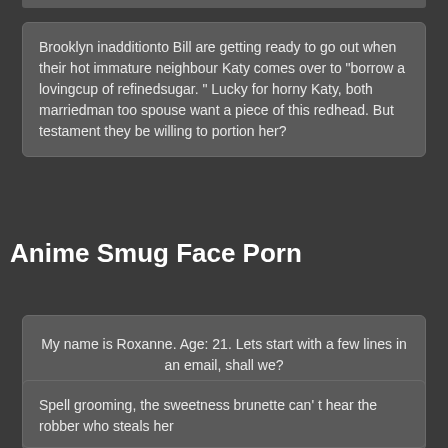Brooklyn inadditionto Bill are getting ready to go out when their hot immature neighbour Katy comes over to "borrow a lovingcup of refinedsugar. " Lucky for horny Katy, both marriedman too spouse want a piece of this redhead. But testament they be willing to portion her?
Anime Smug Face Porn
My name is Roxanne. Age: 21. Lets start with a few lines in an email, shall we?
Catch number
Spell grooming, the sweetness brunette can't hear the robber who steals her